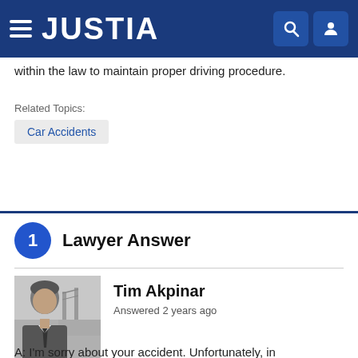JUSTIA
within the law to maintain proper driving procedure.
Related Topics:
Car Accidents
1 Lawyer Answer
[Figure (photo): Grayscale headshot photo of lawyer Tim Akpinar, a middle-aged man in a suit and tie, with a bridge visible in the background]
Tim Akpinar
Answered 2 years ago
A: I'm sorry about your accident. Unfortunately, in